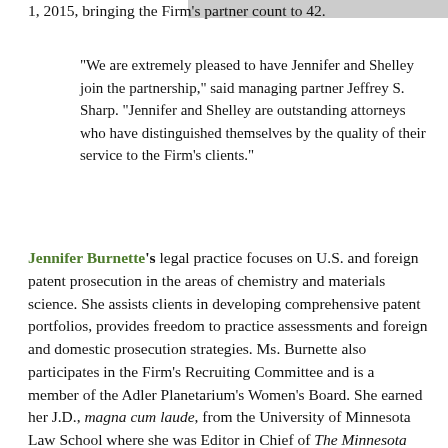1, 2015, bringing the Firm's partner count to 42.
“We are extremely pleased to have Jennifer and Shelley join the partnership,” said managing partner Jeffrey S. Sharp. “Jennifer and Shelley are outstanding attorneys who have distinguished themselves by the quality of their service to the Firm’s clients.”
Jennifer Burnette’s legal practice focuses on U.S. and foreign patent prosecution in the areas of chemistry and materials science. She assists clients in developing comprehensive patent portfolios, provides freedom to practice assessments and foreign and domestic prosecution strategies. Ms. Burnette also participates in the Firm's Recruiting Committee and is a member of the Adler Planetarium's Women's Board. She earned her J.D., magna cum laude, from the University of Minnesota Law School where she was Editor in Chief of The Minnesota Journal of Law, Science and Technology. She earned her Bachelor of Science